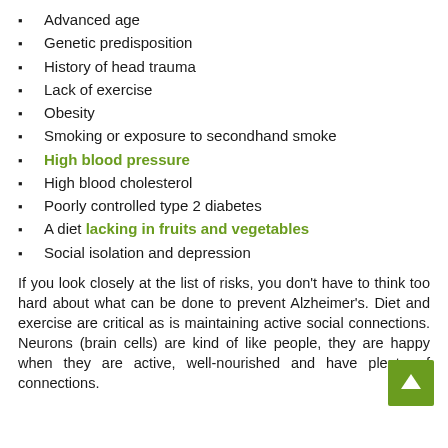Advanced age
Genetic predisposition
History of head trauma
Lack of exercise
Obesity
Smoking or exposure to secondhand smoke
High blood pressure
High blood cholesterol
Poorly controlled type 2 diabetes
A diet lacking in fruits and vegetables
Social isolation and depression
If you look closely at the list of risks, you don't have to think too hard about what can be done to prevent Alzheimer's. Diet and exercise are critical as is maintaining active social connections. Neurons (brain cells) are kind of like people, they are happy when they are active, well-nourished and have plenty of connections.